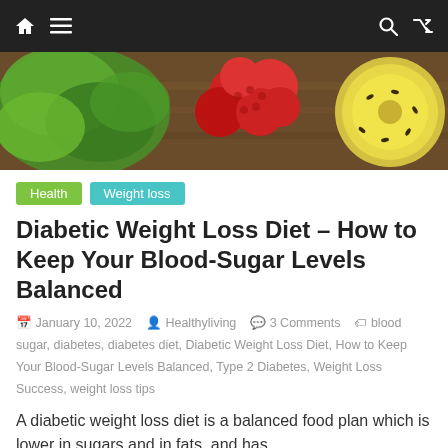Navigation bar with home, menu, search, shuffle icons
[Figure (photo): Hero image showing fresh herbs, raspberries, and a sliced kiwi on a wooden surface]
Health  Weight loss
Diabetic Weight Loss Diet – How to Keep Your Blood-Sugar Levels Balanced
January 10, 2022  Healthyliving  3 Comments  blood sugar, diabetes, diabetes diet, Diabetic Weight Loss Diet, How to Keep Your Blood-Sugar Levels Balanced, Type 2 Diabetes, Weight Loss Success, weight loss tips
A diabetic weight loss diet is a balanced food plan which is lower in sugars and in fats, and has
Read more